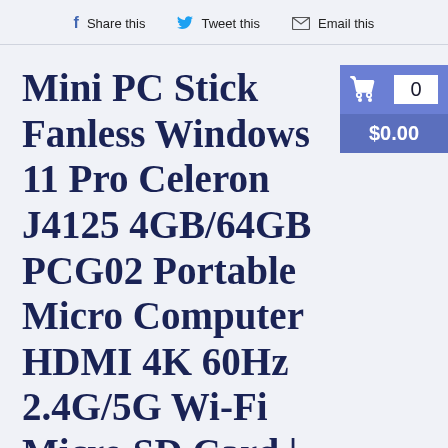f Share this   Tweet this   ✉ Email this
Mini PC Stick Fanless Windows 11 Pro Celeron J4125 4GB/64GB PCG02 Portable Micro Computer HDMI 4K 60Hz 2.4G/5G Wi-Fi Micro SD Card | Products On Sale